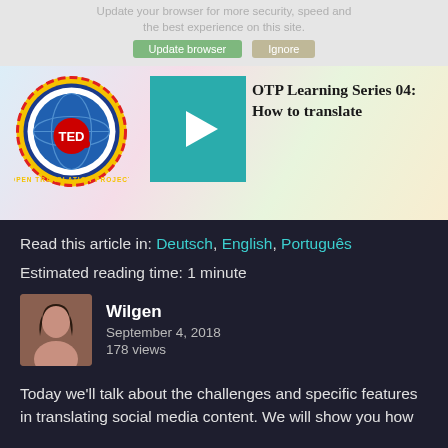[Figure (screenshot): Video thumbnail for OTP Learning Series 04: How to translate, showing the TED Open Translation Project logo and a teal play button overlay, with browser update notification banner at top.]
Read this article in: Deutsch, English, Português
Estimated reading time: 1 minute
Wilgen
September 4, 2018
178 views
Today we'll talk about the challenges and specific features in translating social media content. We will show you how